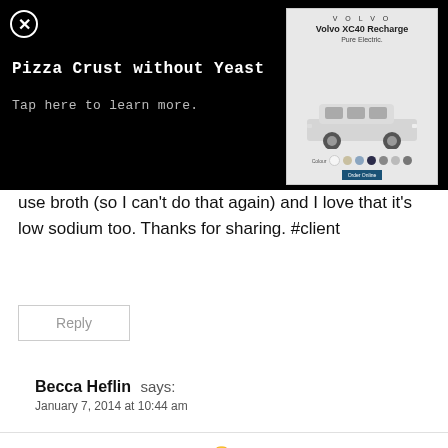[Figure (screenshot): Black banner overlay with close button (X), title 'Pizza Crust without Yeast', 'Tap here to learn more.' text, and a Volvo XC40 Recharge advertisement on the right]
use broth (so I can't do that again) and I love that it's low sodium too. Thanks for sharing. #client
Reply
Becca Heflin says:
January 7, 2014 at 10:44 am
UGH, Christy! How awful 🙁